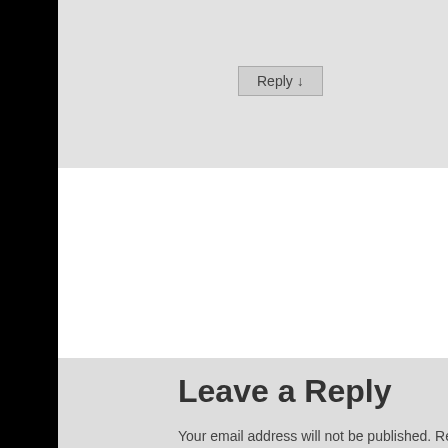Reply ↓
Pingback: Snarkology Halloween Blog Hop | karyngood.c…
Leave a Reply
Your email address will not be published. Required fields…
Comment *